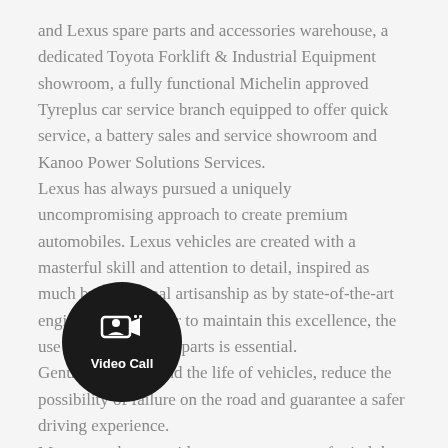and Lexus spare parts and accessories warehouse, a dedicated Toyota Forklift & Industrial Equipment showroom, a fully functional Michelin approved Tyreplus car service branch equipped to offer quick service, a battery sales and service showroom and Kanoo Power Solutions Services.
Lexus has always pursued a uniquely uncompromising approach to create premium automobiles. Lexus vehicles are created with a masterful skill and attention to detail, inspired as much by traditional artisanship as by state-of-the-art engineering. In order to maintain this excellence, the use of genuine spare parts is essential.
Genuine parts extend the life of vehicles, reduce the possibility of failure on the road and guarantee a safer driving experience.
Moreover, they provide customers peace of mind that comes with knowing that they are relying on parts engineered to the highest quality and most rigorous standards.
The spare parts warehouse in Salmabad is one of the largest spare parts warehouses in Bahrain, carrying wide variety of Lexus genuine spare parts. This centre distributes spare parts to all 11 sales outlets, ensuring the uninterrupted availability of any required parts. Each part
[Figure (other): Video Call button overlay: dark circular button with a video call icon and label 'Video Call']